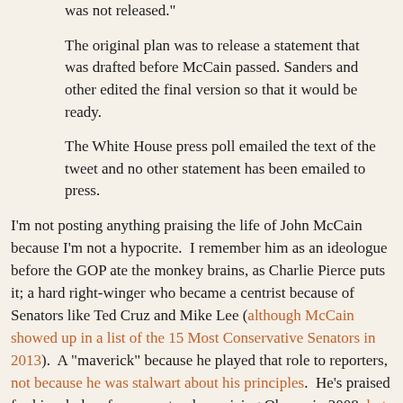was not released."
The original plan was to release a statement that was drafted before McCain passed. Sanders and other edited the final version so that it would be ready.
The White House press poll emailed the text of the tweet and no other statement has been emailed to press.
I'm not posting anything praising the life of John McCain because I'm not a hypocrite.  I remember him as an ideologue before the GOP ate the monkey brains, as Charlie Pierce puts it; a hard right-winger who became a centrist because of Senators like Ted Cruz and Mike Lee (although McCain showed up in a list of the 15 Most Conservative Senators in 2013).  A "maverick" because he played that role to reporters, not because he was stalwart about his principles.  He's praised for his rebuke of a supporter demonizing Obama in 2008; but it ain't that simple.  His most "maverick" vote was to snuff Trump's attempt to kill Obamacare, and I think he did that more out of animus to Trump than sympathy for the Affordable Care Act.*